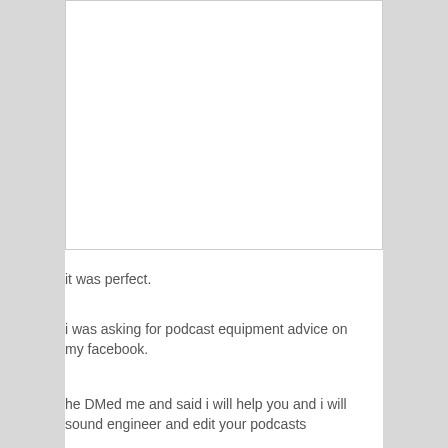[Figure (other): White rectangular image placeholder box]
it was perfect.
i was asking for podcast equipment advice on my facebook.
he DMed me and said i will help you and i will sound engineer and edit your podcasts